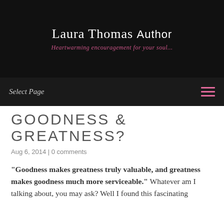Laura Thomas Author — Heartwarming encouragement for your soul...
Select Page
GOODNESS & GREATNESS?
Aug 6, 2014 | 0 comments
“Goodness makes greatness truly valuable, and greatness makes goodness much more serviceable.” Whatever am I talking about, you may ask? Well I found this fascinating